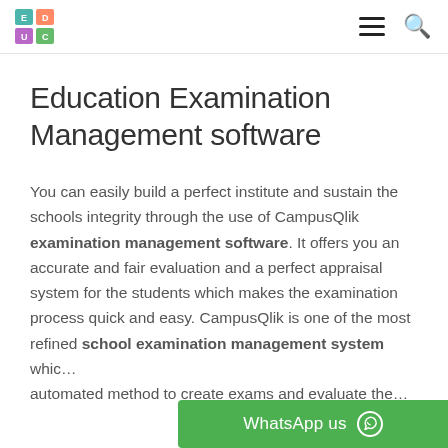Education Examination Management software - CampusQlik
Education Examination Management software
You can easily build a perfect institute and sustain the schools integrity through the use of CampusQlik examination management software. It offers you an accurate and fair evaluation and a perfect appraisal system for the students which makes the examination process quick and easy. CampusQlik is one of the most refined school examination management system whic… automated method to create exams and evaluate the…